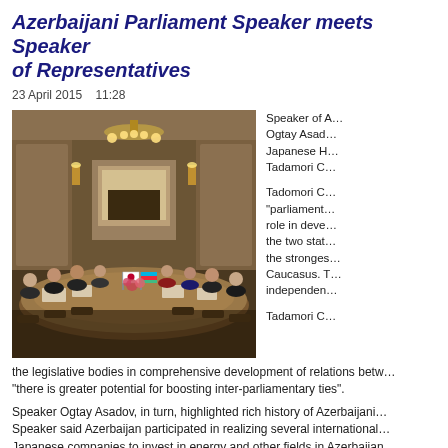Azerbaijani Parliament Speaker meets Speaker of Representatives
23 April 2015    11:28
[Figure (photo): Meeting scene showing two delegations seated around a large ornate table in an official hall. Azerbaijani and Japanese flags are visible on the table. Officials are in formal attire.]
Speaker of A... Ogtay Asad... Japanese H... Tadamori C...

Tadomori C... "parliament... role in deve... the two stat... the stronges... Caucasus. T... independen...

Tadamori C...
the legislative bodies in comprehensive development of relations betw... "there is greater potential for boosting inter-parliamentary ties".
Speaker Ogtay Asadov, in turn, highlighted rich history of Azerbaijani... Speaker said Azerbaijan participated in realizing several international... Japanese companies to invest in energy and other fields in Azerbaijan... insight into TAP, TANAP and the Baku-Tbilisi-Kars railway projects...